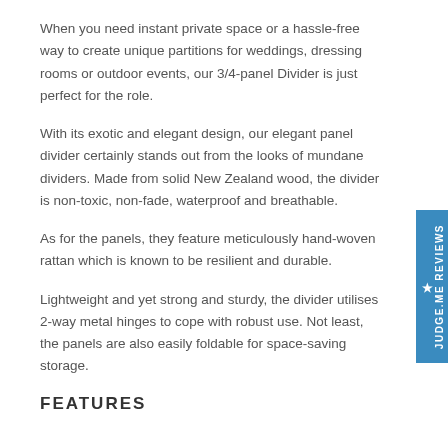When you need instant private space or a hassle-free way to create unique partitions for weddings, dressing rooms or outdoor events, our 3/4-panel Divider is just perfect for the role.
With its exotic and elegant design, our elegant panel divider certainly stands out from the looks of mundane dividers. Made from solid New Zealand wood, the divider is non-toxic, non-fade, waterproof and breathable.
As for the panels, they feature meticulously hand-woven rattan which is known to be resilient and durable.
Lightweight and yet strong and sturdy, the divider utilises 2-way metal hinges to cope with robust use. Not least, the panels are also easily foldable for space-saving storage.
FEATURES